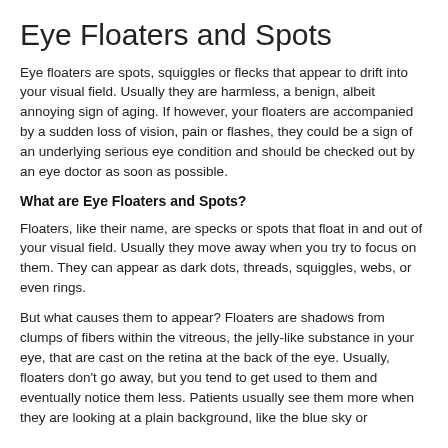Eye Floaters and Spots
Eye floaters are spots, squiggles or flecks that appear to drift into your visual field. Usually they are harmless, a benign, albeit annoying sign of aging. If however, your floaters are accompanied by a sudden loss of vision, pain or flashes, they could be a sign of an underlying serious eye condition and should be checked out by an eye doctor as soon as possible.
What are Eye Floaters and Spots?
Floaters, like their name, are specks or spots that float in and out of your visual field. Usually they move away when you try to focus on them. They can appear as dark dots, threads, squiggles, webs, or even rings.
But what causes them to appear? Floaters are shadows from clumps of fibers within the vitreous, the jelly-like substance in your eye, that are cast on the retina at the back of the eye. Usually, floaters don't go away, but you tend to get used to them and eventually notice them less. Patients usually see them more when they are looking at a plain background, like the blue sky or